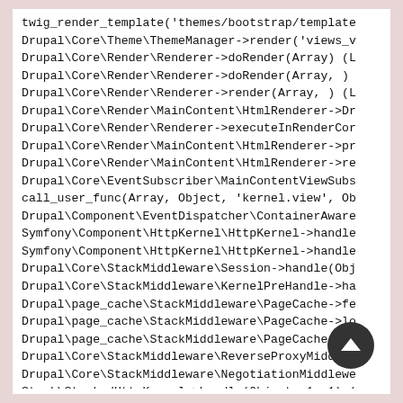twig_render_template('themes/bootstrap/template
Drupal\Core\Theme\ThemeManager->render('views_v
Drupal\Core\Render\Renderer->doRender(Array) (L
Drupal\Core\Render\Renderer->doRender(Array, )
Drupal\Core\Render\Renderer->render(Array, ) (L
Drupal\Core\Render\MainContent\HtmlRenderer->Dr
Drupal\Core\Render\Renderer->executeInRenderCor
Drupal\Core\Render\MainContent\HtmlRenderer->pr
Drupal\Core\Render\MainContent\HtmlRenderer->re
Drupal\Core\EventSubscriber\MainContentViewSubs
call_user_func(Array, Object, 'kernel.view', Ob
Drupal\Component\EventDispatcher\ContainerAware
Symfony\Component\HttpKernel\HttpKernel->handle
Symfony\Component\HttpKernel\HttpKernel->handle
Drupal\Core\StackMiddleware\Session->handle(Obj
Drupal\Core\StackMiddleware\KernelPreHandle->ha
Drupal\page_cache\StackMiddleware\PageCache->fe
Drupal\page_cache\StackMiddleware\PageCache->lo
Drupal\page_cache\StackMiddleware\PageCache->ha
Drupal\Core\StackMiddleware\ReverseProxyMiddlew
Drupal\Core\StackMiddleware\Negotiationmiddlewa
Stack\StackedHttpKernel->handle(Object, 1, 1) (
Drupal\Core\DrupalKernel->handle(Object) (Line: